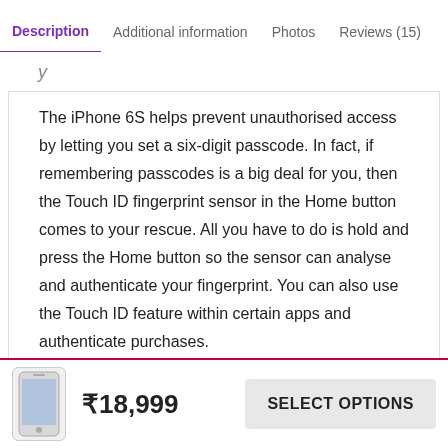Description | Additional information | Photos | Reviews (15)
The iPhone 6S helps prevent unauthorised access by letting you set a six-digit passcode. In fact, if remembering passcodes is a big deal for you, then the Touch ID fingerprint sensor in the Home button comes to your rescue. All you have to do is hold and press the Home button so the sensor can analyse and authenticate your fingerprint. You can also use the Touch ID feature within certain apps and authenticate purchases.
Sensors
The proximity sensor helps save the battery life by turning
₹18,999